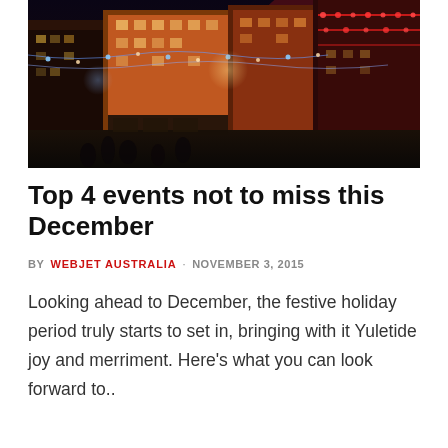[Figure (photo): Night-time photograph of a European city street decorated with festive Christmas lights, illuminated buildings with warm orange and red tones, blue string lights, and crowds of people on the street below.]
Top 4 events not to miss this December
BY WEBJET AUSTRALIA · NOVEMBER 3, 2015
Looking ahead to December, the festive holiday period truly starts to set in, bringing with it Yuletide joy and merriment. Here's what you can look forward to..